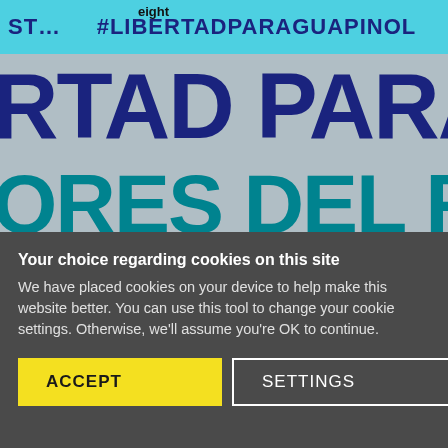[Figure (screenshot): Screenshot of a website showing a protest banner with text '#LibertadParaGuapinol' in a teal header, and large text 'RTAD PARA' in dark blue and 'ORES DEL RÍO GU' in teal on a grey background. The word 'eight' appears as a label overlay near the top. A cookie consent banner overlays the bottom portion.]
Your choice regarding cookies on this site
We have placed cookies on your device to help make this website better. You can use this tool to change your cookie settings. Otherwise, we'll assume you're OK to continue.
ACCEPT | SETTINGS | ×